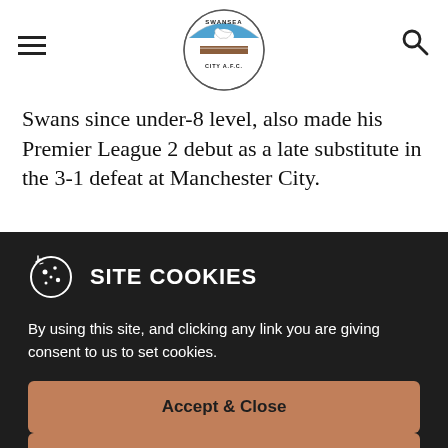[Figure (logo): Swansea City AFC circular badge logo with swan and blue/white/brown colors]
Swans since under-8 level, also made his Premier League 2 debut as a late substitute in the 3-1 defeat at Manchester City.
[Figure (photo): Partial photo of a football pitch or outdoor scene with dark green trees in the background]
SITE COOKIES
By using this site, and clicking any link you are giving consent to us to set cookies.
Accept & Close
Find Out More